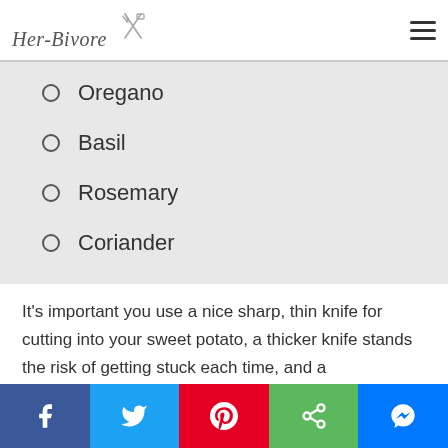Her-Bivore [logo with crossed fork and spatula icon] [hamburger menu icon]
Oregano
Basil
Rosemary
Coriander
It's important you use a nice sharp, thin knife for cutting into your sweet potato, a thicker knife stands the risk of getting stuck each time, and a
Facebook | Twitter | Pinterest | Share | Messenger